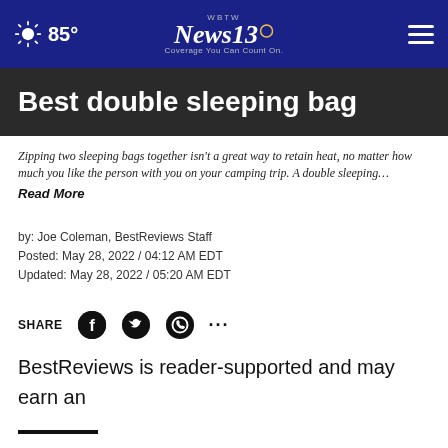WBTW News 13 - Coverage You Can Count On. | 85°
Best double sleeping bag
Zipping two sleeping bags together isn't a great way to retain heat, no matter how much you like the person with you on your camping trip. A double sleeping… Read More
by: Joe Coleman, BestReviews Staff
Posted: May 28, 2022 / 04:12 AM EDT
Updated: May 28, 2022 / 05:20 AM EDT
SHARE
BestReviews is reader-supported and may earn an affiliate commission. Details.